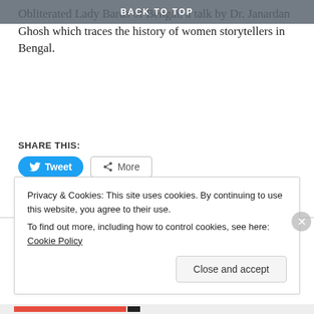BACK TO TOP
Obliterated Lady Bards of Bengal, a talk by Dr. Janardan Ghosh which traces the history of women storytellers in Bengal.
SHARE THIS:
Loading...
Privacy & Cookies: This site uses cookies. By continuing to use this website, you agree to their use.
To find out more, including how to control cookies, see here: Cookie Policy
Close and accept